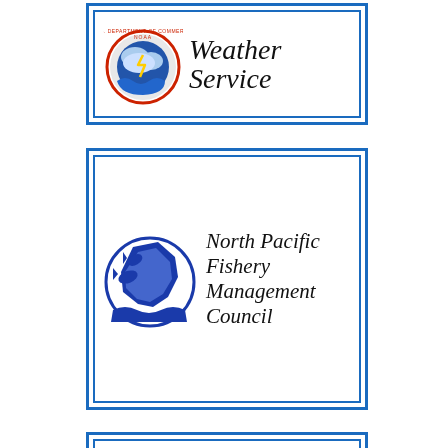[Figure (logo): National Weather Service logo with NOAA Department of Commerce seal on left and italic text 'Weather Service' on right, inside double blue border]
[Figure (logo): North Pacific Fishery Management Council logo with blue circular emblem of fish and Alaska map on left and italic text 'North Pacific Fishery Management Council' on right, inside double blue border]
[Figure (logo): Pacific Fishery Management Council logo with dark blue circular emblem showing Pacific coast states map with fish on left and italic text 'Pacific Fishery Management Council' on right, inside double blue border]